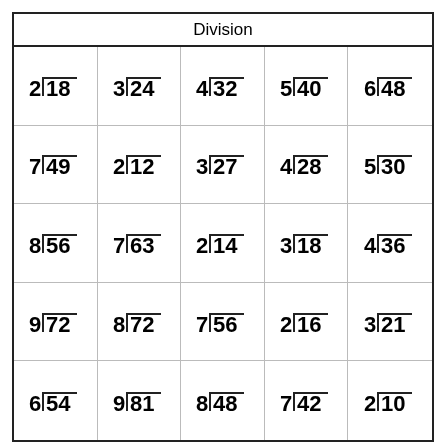Division
| 2√18 | 3√24 | 4√32 | 5√40 | 6√48 |
| 7√49 | 2√12 | 3√27 | 4√28 | 5√30 |
| 8√56 | 7√63 | 2√14 | 3√18 | 4√36 |
| 9√72 | 8√72 | 7√56 | 2√16 | 3√21 |
| 6√54 | 9√81 | 8√48 | 7√42 | 2√10 |